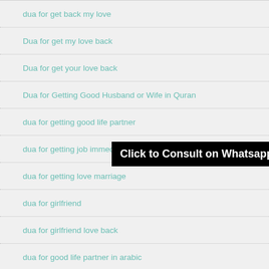dua for get back my love
Dua for get my love back
Dua for get your love back
Dua for Getting Good Husband or Wife in Quran
dua for getting good life partner
dua for getting job immediately
dua for getting love marriage
dua for girlfriend
dua for girlfriend love back
dua for good life partner in arabic
Click to Consult on Whatsapp